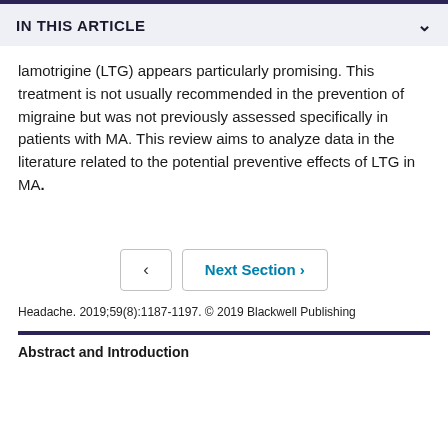IN THIS ARTICLE
lamotrigine (LTG) appears particularly promising. This treatment is not usually recommended in the prevention of migraine but was not previously assessed specifically in patients with MA. This review aims to analyze data in the literature related to the potential preventive effects of LTG in MA.
< Next Section >
Headache. 2019;59(8):1187-1197. © 2019 Blackwell Publishing
Abstract and Introduction